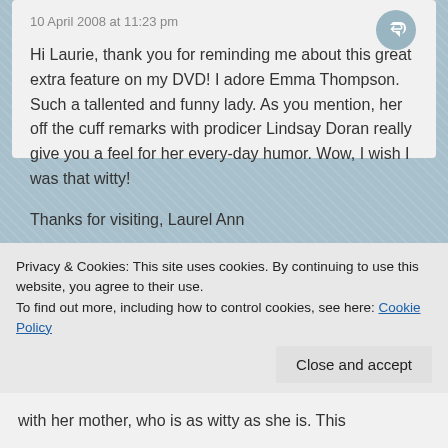10 April 2008 at 11:23 pm
Hi Laurie, thank you for reminding me about this great extra feature on my DVD! I adore Emma Thompson. Such a tallented and funny lady. As you mention, her off the cuff remarks with prodicer Lindsay Doran really give you a feel for her every-day humor. Wow, I wish I was that witty!
Thanks for visiting, Laurel Ann
Like
Ms. Place
Privacy & Cookies: This site uses cookies. By continuing to use this website, you agree to their use.
To find out more, including how to control cookies, see here: Cookie Policy
Close and accept
with her mother, who is as witty as she is. This